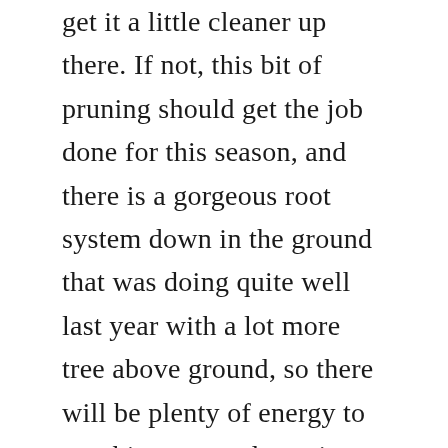get it a little cleaner up there. If not, this bit of pruning should get the job done for this season, and there is a gorgeous root system down in the ground that was doing quite well last year with a lot more tree above ground, so there will be plenty of energy to get things up and running this year. I'll spread a bit of compost around the ground a couple of feet out from the main trunk, and it will be off to the races.